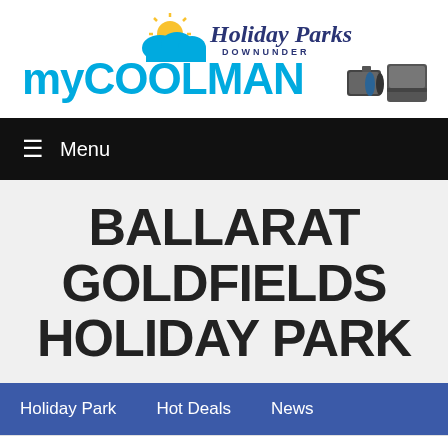[Figure (logo): Holiday Parks Downunder logo with stylized script text and sun/cloud icon, combined with MyCoolman logo in cyan blue with product images of cooler bags and portable fridges]
≡  Menu
BALLARAT GOLDFIELDS HOLIDAY PARK
Holiday Park   Hot Deals   News